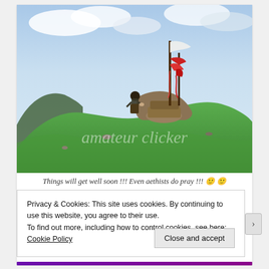[Figure (photo): A person standing on a grassy hilltop near a stone cairn with prayer flags (white and red) on tall poles. Blue sky with clouds in the background. Watermark text 'amateur clicker' visible across the lower portion of the image.]
Things will get well soon !!! Even aethists do pray !!! 🙂 🙂
Privacy & Cookies: This site uses cookies. By continuing to use this website, you agree to their use.
To find out more, including how to control cookies, see here:
Cookie Policy
Close and accept